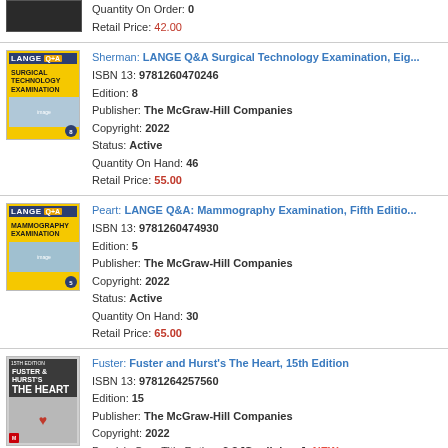Quantity On Order: 0
Retail Price: 42.00
Sherman: LANGE Q&A Surgical Technology Examination, Eighth Edition
ISBN 13: 9781260470246
Edition: 8
Publisher: The McGraw-Hill Companies
Copyright: 2022
Status: Active
Quantity On Hand: 46
Retail Price: 55.00
Peart: LANGE Q&A: Mammography Examination, Fifth Edition
ISBN 13: 9781260474930
Edition: 5
Publisher: The McGraw-Hill Companies
Copyright: 2022
Status: Active
Quantity On Hand: 30
Retail Price: 65.00
Fuster: Fuster and Hurst's The Heart, 15th Edition
ISBN 13: 9781264257560
Edition: 15
Publisher: The McGraw-Hill Companies
Copyright: 2022
Doody's Core Title Rating: 2.8 [Cardiology] NEW
Doody's Core Title Rating: 2.7 [General Medicine] NEW
Status: Active